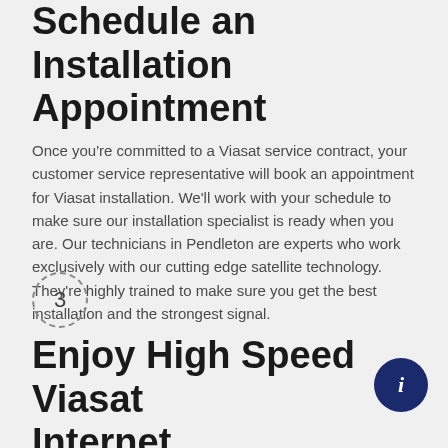Schedule an Installation Appointment
Once you're committed to a Viasat service contract, your customer service representative will book an appointment for Viasat installation. We'll work with your schedule to make sure our installation specialist is ready when you are. Our technicians in Pendleton are experts who work exclusively with our cutting edge satellite technology. They're highly trained to make sure you get the best installation and the strongest signal.
3 Enjoy High Speed Viasat Internet
Now comes the fun part--enjoy your high speed internet service! Browse, chat, post, and stream with the confidence that your